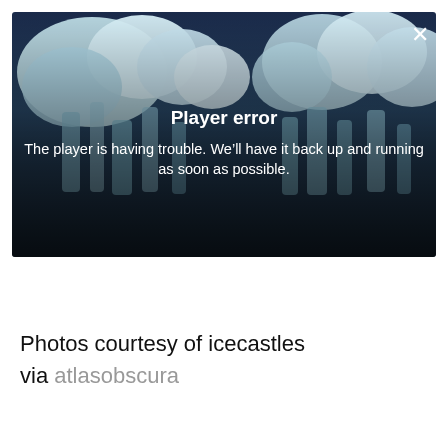[Figure (screenshot): Video player error screen showing an iceberg/ice castle landscape with a dark blue sky. A white X close button appears in the top-right corner. Overlaid text reads 'Player error' in bold and 'The player is having trouble. We'll have it back up and running as soon as possible.' The bottom portion of the image is darker/shadowed.]
Photos courtesy of icecastles
via atlasobscura